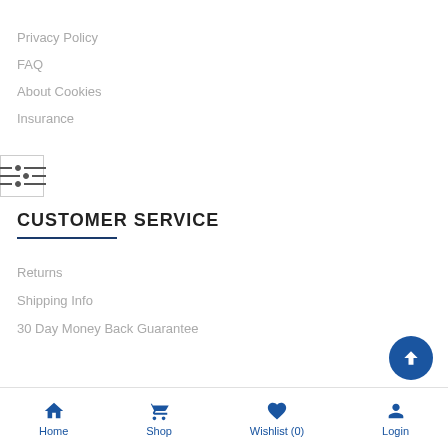Privacy Policy
FAQ
About Cookies
Insurance
[Figure (other): Filter/settings icon with three horizontal lines and adjustment knobs]
CUSTOMER SERVICE
Returns
Shipping Info
30 Day Money Back Guarantee
Home  Shop  Wishlist (0)  Login